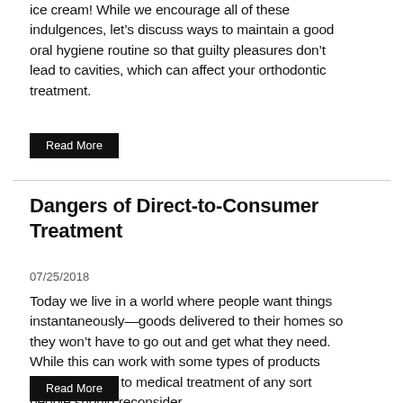ice cream! While we encourage all of these indulgences, let’s discuss ways to maintain a good oral hygiene routine so that guilty pleasures don’t lead to cavities, which can affect your orthodontic treatment.
Read More
Dangers of Direct-to-Consumer Treatment
07/25/2018
Today we live in a world where people want things instantaneously—goods delivered to their homes so they won’t have to go out and get what they need. While this can work with some types of products when it comes to medical treatment of any sort people should reconsider.
Read More